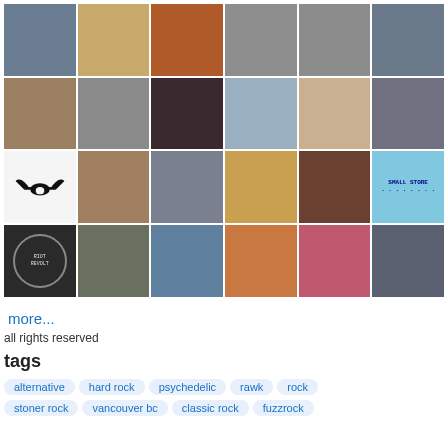[Figure (photo): Grid of 24 profile/avatar photos in a 6x4 layout, followed by a 'more...' link, rights text, tags section with pills for alternative, hard rock, psychedelic, rawk, rock, stoner rock, vancouver bc, classic rock, fuzzrock]
more...
all rights reserved
tags
alternative
hard rock
psychedelic
rawk
rock
stoner rock
vancouver bc
classic rock
fuzzrock